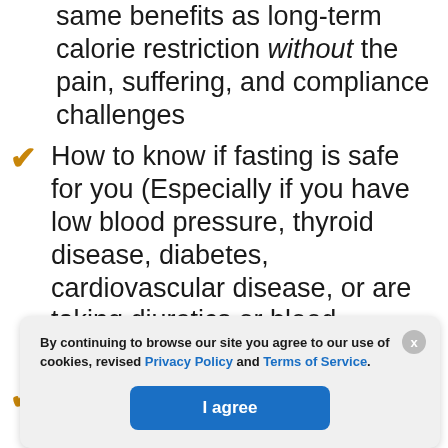same benefits as long-term calorie restriction without the pain, suffering, and compliance challenges
How to know if fasting is safe for you (Especially if you have low blood pressure, thyroid disease, diabetes, cardiovascular disease, or are taking diuretics or blood pressure medications)
The fast where you're still eating food (This may be a tougher approach!)
...ercising
...r body's
By continuing to browse our site you agree to our use of cookies, revised Privacy Policy and Terms of Service.